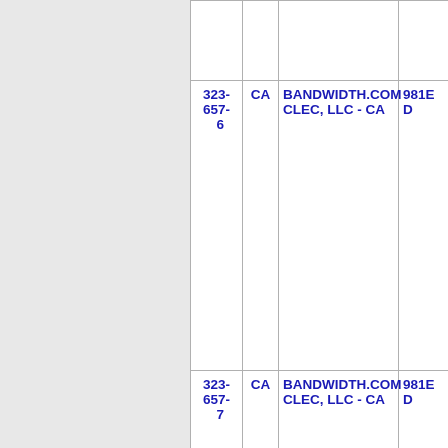| Number | State | Carrier | Code |
| --- | --- | --- | --- |
| 323-657-6 | CA | BANDWIDTH.COM CLEC, LLC - CA | 981E ... |
| 323-657-7 | CA | BANDWIDTH.COM CLEC, LLC - CA | 981E ... |